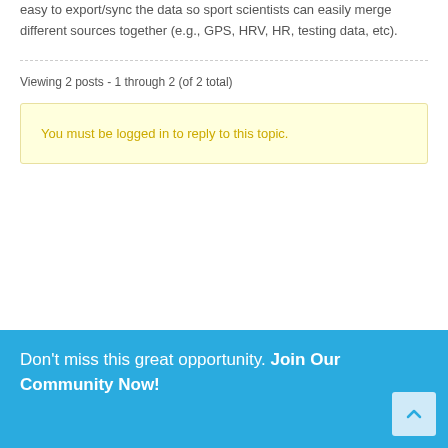easy to export/sync the data so sport scientists can easily merge different sources together (e.g., GPS, HRV, HR, testing data, etc).
Viewing 2 posts - 1 through 2 (of 2 total)
You must be logged in to reply to this topic.
Don't miss this great opportunity. Join Our Community Now!